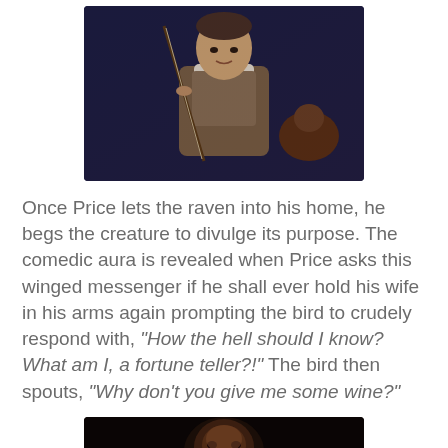[Figure (photo): A man in medieval costume holding a bow, wearing a vest over a white shirt, with a dark blue background and what appears to be a bird or animal prop to the right.]
Once Price lets the raven into his home, he begs the creature to divulge its purpose. The comedic aura is revealed when Price asks this winged messenger if he shall ever hold his wife in his arms again prompting the bird to crudely respond with, "How the hell should I know? What am I, a fortune teller?!" The bird then spouts, "Why don't you give me some wine?"
[Figure (photo): A dark close-up image of a person's face, dimly lit with warm tones.]